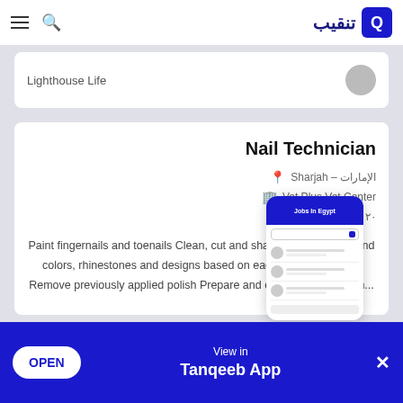Tanqeeb app navigation bar with hamburger menu, search icon, and Tanqeeb logo
Lighthouse Life
Nail Technician
الإمارات - Sharjah
Vet Plus Vet Center
٢٠ أغسطس ٢٠٢٢
Paint fingernails and toenails Clean, cut and shape nails Recommend colors, rhinestones and designs based on each customer's style Remove previously applied polish Prepare and clean beauty station...
[Figure (screenshot): Phone mockup showing Tanqeeb Jobs app interface with job listings]
OPEN   View in   Tanqeeb App   ×